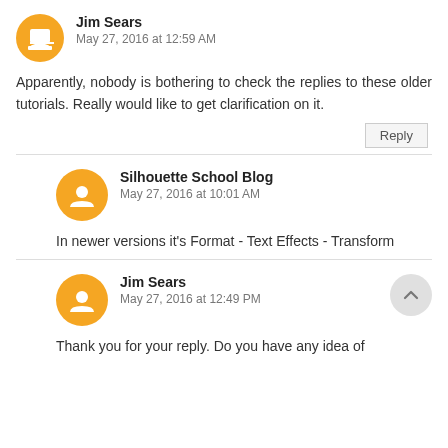Jim Sears
May 27, 2016 at 12:59 AM
Apparently, nobody is bothering to check the replies to these older tutorials. Really would like to get clarification on it.
Reply
Silhouette School Blog
May 27, 2016 at 10:01 AM
In newer versions it's Format - Text Effects - Transform
Jim Sears
May 27, 2016 at 12:49 PM
Thank you for your reply. Do you have any idea of